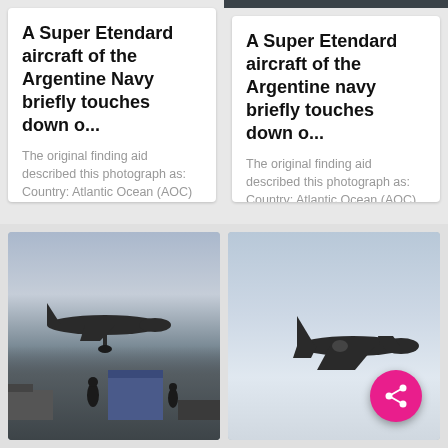A Super Etendard aircraft of the Argentine Navy briefly touches down o...
The original finding aid described this photograph as: Country: Atlantic Ocean (AOC) Scene Camera Operator: Don S. Montgomery Release Status: Released to Public Combined Military Service Digital Photographic Files
A Super Etendard aircraft of the Argentine navy briefly touches down o...
The original finding aid described this photograph as: Country: Atlantic Ocean (AOC) Scene Camera Operator: Don S. Montgomery Release Status: Released to Public Combined Military Service Digital Photographic Files
[Figure (photo): Black and white photograph of a Super Etendard aircraft landing on a carrier deck with ground crew and equipment visible]
[Figure (photo): Black and white photograph of a Super Etendard aircraft in flight against a light sky, with a pink share button overlay]